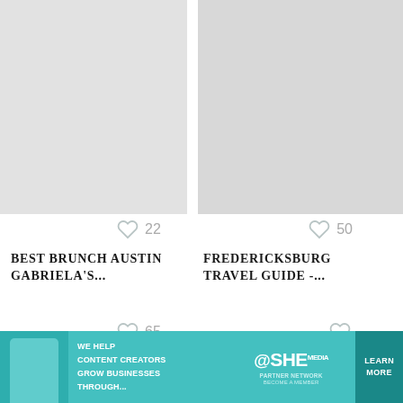[Figure (screenshot): Website screenshot showing blog post cards in a grid layout with heart/like icons and titles. Top row: 'Best Brunch Austin Gabriela's...' (22 likes) and 'Fredericksburg Travel Guide -...' (50 likes). Bottom row partial: 'Big Island Hawaii...' (65 likes) and 'What To Do In...' with partial heart icon visible. Right side shows scroll-up button, count 16, heart button, teal search button, and X close button. Bottom has an advertisement banner for SHE Media Partner Network.]